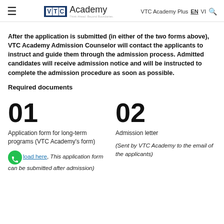VTC Academy | VTC Academy Plus EN VI [search]
After the application is submitted (in either of the two forms above), VTC Academy Admission Counselor will contact the applicants to instruct and guide them through the admission process. Admitted candidates will receive admission notice and will be instructed to complete the admission procedure as soon as possible.
Required documents
01
Application form for long-term programs (VTC Academy's form)
(Download here, This application form can be submitted after admission)
02
Admission letter
(Sent by VTC Academy to the email of the applicants)